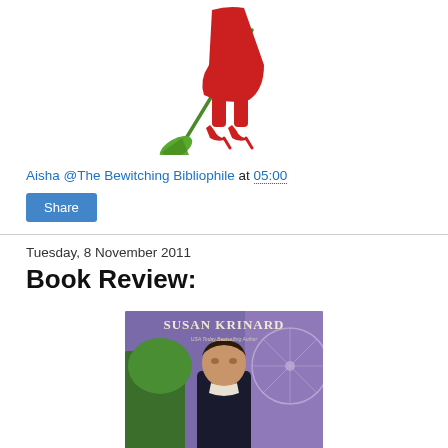[Figure (illustration): Silhouette of a witch in red dress and high heels holding a green broom, partial top view cropped]
Aisha @The Bewitching Bibliophile at 05:00
Share
Tuesday, 8 November 2011
Book Review:
[Figure (photo): Book cover of a Susan Krinard novel — USA Today Bestselling Author — showing a man in period clothing with a purple/mystical background]